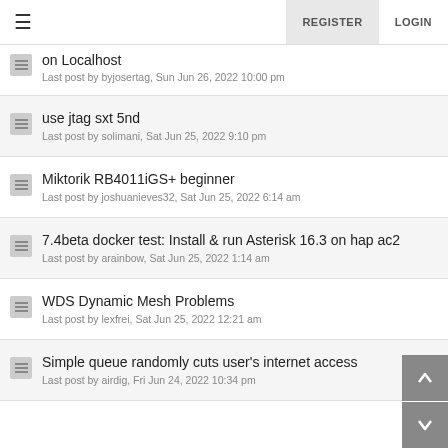REGISTER LOGIN
on Localhost
Last post by byjosertag, Sun Jun 26, 2022 10:00 pm
use jtag sxt 5nd
Last post by solimani, Sat Jun 25, 2022 9:10 pm
Miktorik RB4011iGS+ beginner
Last post by joshuanieves32, Sat Jun 25, 2022 6:14 am
7.4beta docker test: Install & run Asterisk 16.3 on hap ac2
Last post by arainbow, Sat Jun 25, 2022 1:14 am
WDS Dynamic Mesh Problems
Last post by lexfrei, Sat Jun 25, 2022 12:21 am
Simple queue randomly cuts user's internet access
Last post by airdig, Fri Jun 24, 2022 10:34 pm